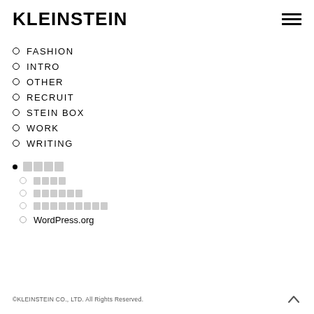KLEINSTEIN
FASHION
INTRO
OTHER
RECRUIT
STEIN BOX
WORK
WRITING
□□□□
□□□□
□□□□□□
□□□□□□□□□
WordPress.org
©KLEINSTEIN CO., LTD. All Rights Reserved.